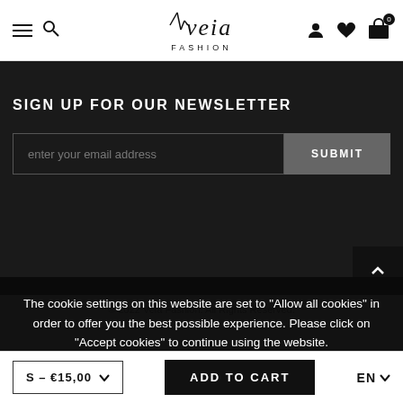veia FASHION — navigation bar with hamburger, search, user, wishlist, cart icons
SIGN UP FOR OUR NEWSLETTER
enter your email address
SUBMIT
© 2022 Veia Fashion. All Rights Reserved.
The cookie settings on this website are set to "Allow all cookies" in order to offer you the best possible experience. Please click on "Accept cookies" to continue using the website.
PRIVACY POLICY   ACCEPT ✔
S – €15,00   ADD TO CART   EN